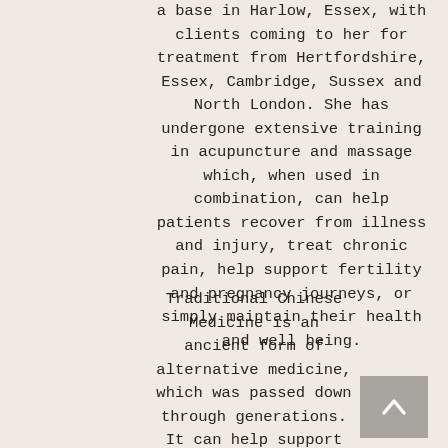a base in Harlow, Essex, with clients coming to her for treatment from Hertfordshire, Essex, Cambridge, Sussex and North London. She has undergone extensive training in acupuncture and massage which, when used in combination, can help patients recover from illness and injury, treat chronic pain, help support fertility and pregnancy journeys, or simply maintain their health and well being.
Traditional Chinese Medicine is an ancient form of alternative medicine, which was passed down through generations. It can help support relief from the symptoms of muscle and joint pain, anxiety and stress, including insomnia, headaches, migraines, and chronic primary and secondary pain. Nicola specialises in muscular skeletal injury management and chronic pain relief, as well as female fertility and